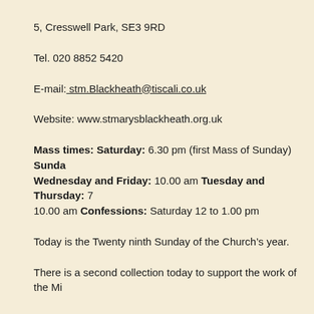5, Cresswell Park, SE3 9RD
Tel. 020 8852 5420
E-mail: stm.Blackheath@tiscali.co.uk
Website: www.stmarysblackheath.org.uk
Mass times: Saturday: 6.30 pm (first Mass of Sunday) Sunday: Wednesday and Friday: 10.00 am Tuesday and Thursday: 7 10.00 am Confessions: Saturday 12 to 1.00 pm
Today is the Twenty ninth Sunday of the Church’s year.
There is a second collection today to support the work of the Mi
On Monday I travel to Spain to visit the College for one of my re with me and I look forward to showing them the College.
This means that I will not be here for Mass during the week. The 10am Mass on Monday and Friday. There will be a Eucharistic S Wednesday but there will be no 7.30 Mass on Tuesday and Th